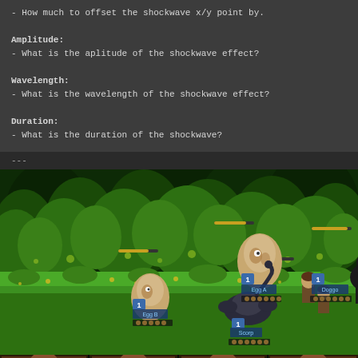- How much to offset the shockwave x/y point by.

Amplitude:
- What is the aplitude of the shockwave effect?

Wavelength:
- What is the wavelength of the shockwave effect?

Duration:
- What is the duration of the shockwave?
---
[Figure (screenshot): RPG game battle scene with green jungle/forest background. Multiple enemies visible: Egg A, Egg B, Doggo, Scorp. Two player characters on the right side. Each character has a level badge showing '1' and health/stat bars below them. Yellow HP bars visible above some characters.]
[Figure (screenshot): Bottom strip showing character portraits/icons partially visible at the bottom of the screen.]